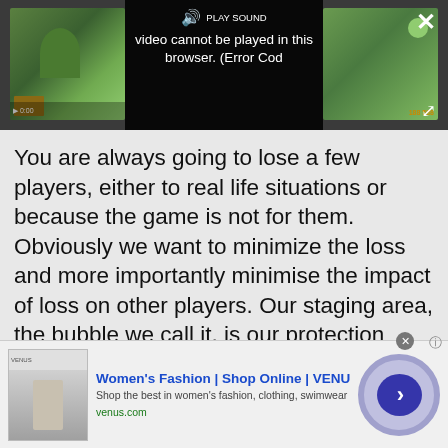[Figure (screenshot): Video player showing a game video with error overlay: 'Video cannot be played in this browser. (Error Cod' with PLAY SOUND button, close X button, and expand button.]
You are always going to lose a few players, either to real life situations or because the game is not for them. Obviously we want to minimize the loss and more importantly minimise the impact of loss on other players. Our staging area, the bubble we call it, is our protection against that. The first age of the game is instanced in such a fashion that your play experience does not affect others. This fits nicely into the lore of the world; as your tribal village is scared of the wider world there are dragons out there don't
[Figure (screenshot): Advertisement banner: Women's Fashion | Shop Online | VENUS. Shop the best in women's fashion, clothing, swimwear. venus.com]